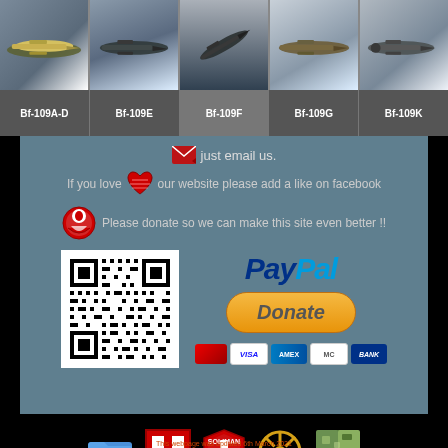[Figure (photo): Header strip with 5 WWII fighter aircraft (Bf-109 variants) photos in a row against sky backgrounds]
Bf-109A-D | Bf-109E | Bf-109F | Bf-109G | Bf-109K
just email us.
If you love [heart] our website please add a like on facebook
Please donate so we can make this site even better !!
[Figure (other): PayPal donation section with QR code on left and PayPal logo, Donate button, and credit card logos on right]
[Figure (other): Row of 5 small icon logos at bottom on black background]
This webpage was updated 6th March 2021